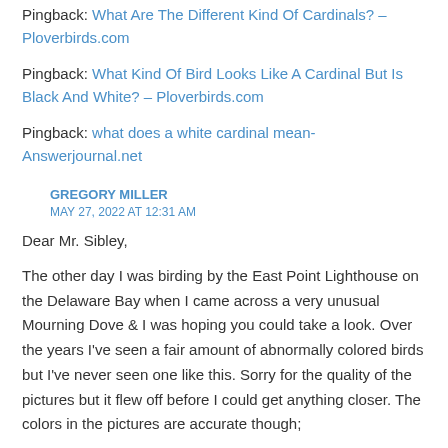Pingback: What Are The Different Kind Of Cardinals? – Ploverbirds.com
Pingback: What Kind Of Bird Looks Like A Cardinal But Is Black And White? – Ploverbirds.com
Pingback: what does a white cardinal mean-Answerjournal.net
GREGORY MILLER
MAY 27, 2022 AT 12:31 AM
Dear Mr. Sibley,
The other day I was birding by the East Point Lighthouse on the Delaware Bay when I came across a very unusual Mourning Dove & I was hoping you could take a look. Over the years I've seen a fair amount of abnormally colored birds but I've never seen one like this. Sorry for the quality of the pictures but it flew off before I could get anything closer. The colors in the pictures are accurate though;